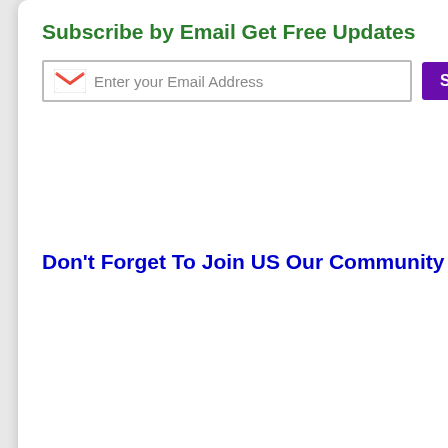Subscribe by Email Get Free Updates
Enter your Email Address
Subscribe
Don't Forget To Join US Our Community
Right
on CST
arch"
CST CST
STEP:1 Full Tutorial:
Option-A: Know PAN Number from TIN Number
Option-B: Know PAN Number from TIN Number